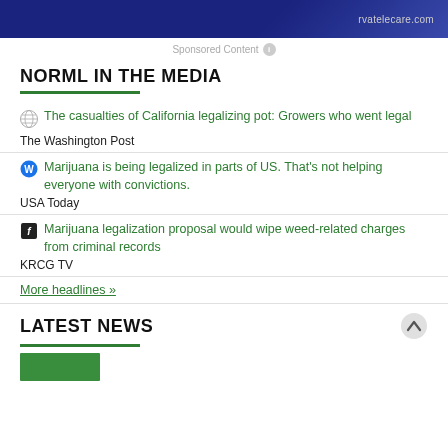[Figure (other): Advertisement banner for rvatelecare.com with dark blue background]
Sponsored Content
NORML IN THE MEDIA
The casualties of California legalizing pot: Growers who went legal — The Washington Post
Marijuana is being legalized in parts of US. That's not helping everyone with convictions. — USA Today
Marijuana legalization proposal would wipe weed-related charges from criminal records — KRCG TV
More headlines »
LATEST NEWS